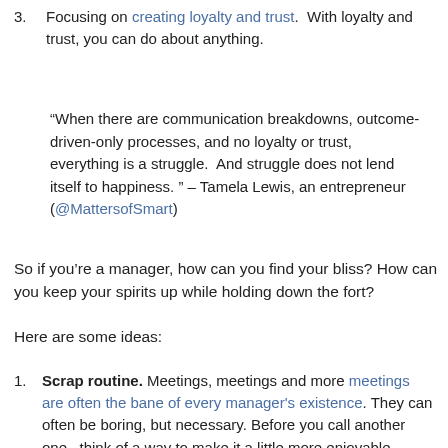3. Focusing on creating loyalty and trust. With loyalty and trust, you can do about anything.
“When there are communication breakdowns, outcome-driven-only processes, and no loyalty or trust, everything is a struggle. And struggle does not lend itself to happiness. ” – Tamela Lewis, an entrepreneur (@MattersofSmart)
So if you’re a manager, how can you find your bliss? How can you keep your spirits up while holding down the fort?
Here are some ideas:
1. Scrap routine. Meetings, meetings and more meetings are often the bane of every manager's existence. They can often be boring, but necessary. Before you call another one, think of a way to make it a little more enjoyable, whether it’s bringing in some healthy snacks